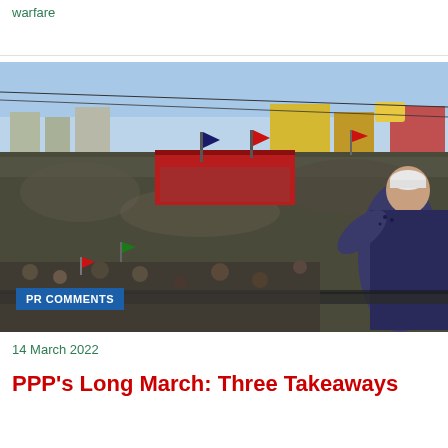warfare
[Figure (photo): A large political rally crowd with flags, a man in a white cap and blue clothing waving to the crowd from an elevated position. Red banners visible. Labeled PR COMMENTS.]
PR COMMENTS
14 March 2022
PPP's Long March: Three Takeaways